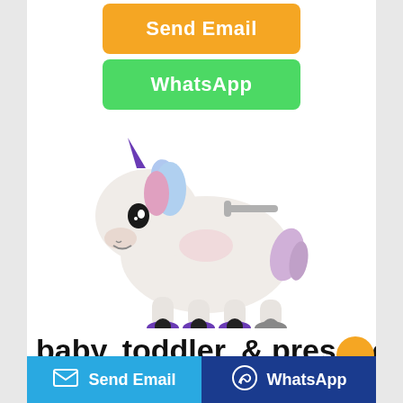[Figure (other): Orange button labeled Send Email]
[Figure (other): Green button labeled WhatsApp]
[Figure (photo): A white unicorn ride-on toy with purple hooves and horn, colorful mane, on wheels]
baby, toddler, & preschool
[Figure (other): Bottom footer bar with blue Send Email button and dark blue WhatsApp button]